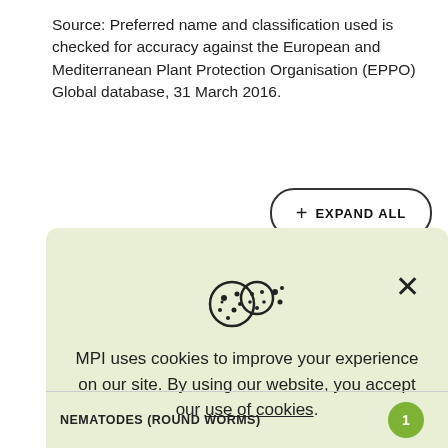Source: Preferred name and classification used is checked for accuracy against the European and Mediterranean Plant Protection Organisation (EPPO) Global database, 31 March 2016.
+ EXPAND ALL
MPI uses cookies to improve your experience on our site. By using our website, you accept our use of cookies.
NEMATODES (ROUND WORMS)